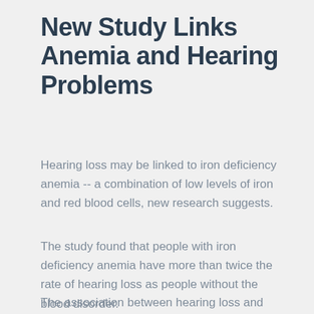New Study Links Anemia and Hearing Problems
Hearing loss may be linked to iron deficiency anemia -- a combination of low levels of iron and red blood cells, new research suggests.
The study found that people with iron deficiency anemia have more than twice the rate of hearing loss as people without the blood disorder.
The association between hearing loss and